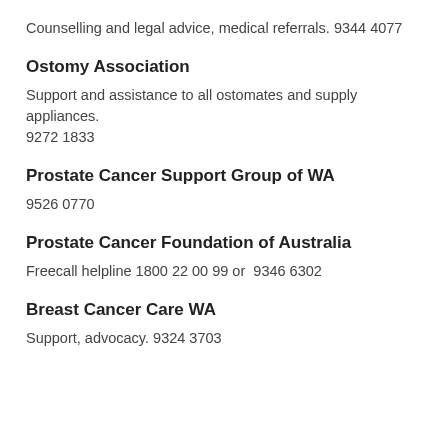Counselling and legal advice, medical referrals. 9344 4077
Ostomy Association
Support and assistance to all ostomates and supply appliances. 9272 1833
Prostate Cancer Support Group of WA
9526 0770
Prostate Cancer Foundation of Australia
Freecall helpline 1800 22 00 99 or  9346 6302
Breast Cancer Care WA
Support, advocacy. 9324 3703